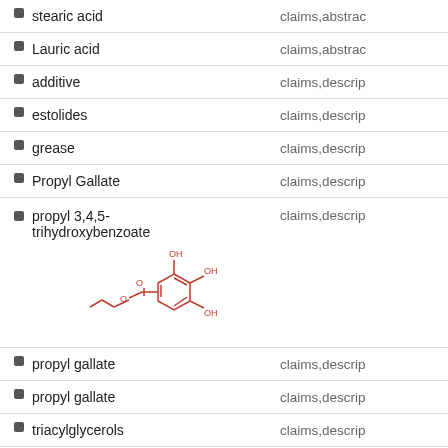| Term | Sections |
| --- | --- |
| stearic acid | claims,abstrac |
| Lauric acid | claims,abstrac |
| additive | claims,descrip |
| estolides | claims,descrip |
| grease | claims,descrip |
| Propyl Gallate | claims,descrip |
| propyl 3,4,5-trihydroxybenzoate | claims,descrip |
| propyl gallate | claims,descrip |
| propyl gallate | claims,descrip |
| triacylglycerols | claims,descrip |
| TOTP | claims,descrip |